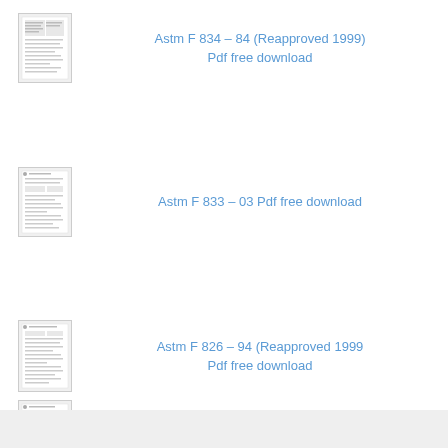[Figure (screenshot): Thumbnail of ASTM F 834-84 document page]
Astm F 834 – 84 (Reapproved 1999) Pdf free download
[Figure (screenshot): Thumbnail of ASTM F 833-03 document page]
Astm F 833 – 03 Pdf free download
[Figure (screenshot): Thumbnail of ASTM F 826-94 document page]
Astm F 826 – 94 (Reapproved 1999 Pdf free download
[Figure (screenshot): Thumbnail of ASTM F 825-93 document page]
Astm F 825 – 93 (Reapproved 1999) Pdf free download